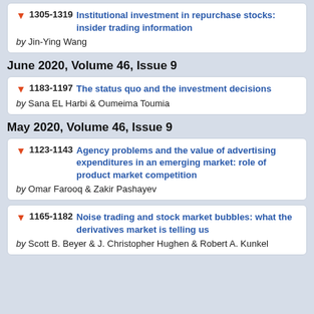1305-1319 Institutional investment in repurchase stocks: insider trading information by Jin-Ying Wang
June 2020, Volume 46, Issue 9
1183-1197 The status quo and the investment decisions by Sana EL Harbi & Oumeima Toumia
May 2020, Volume 46, Issue 9
1123-1143 Agency problems and the value of advertising expenditures in an emerging market: role of product market competition by Omar Farooq & Zakir Pashayev
1165-1182 Noise trading and stock market bubbles: what the derivatives market is telling us by Scott B. Beyer & J. Christopher Hughen & Robert A. Kunkel